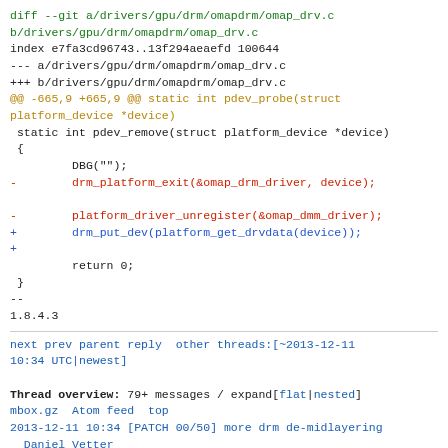diff --git a/drivers/gpu/drm/omapdrm/omap_drv.c b/drivers/gpu/drm/omapdrm/omap_drv.c
index e7fa3cd96743..13f294aeaefd 100644
--- a/drivers/gpu/drm/omapdrm/omap_drv.c
+++ b/drivers/gpu/drm/omapdrm/omap_drv.c
@@ -665,9 +665,9 @@ static int pdev_probe(struct platform_device *device)
 static int pdev_remove(struct platform_device *device)
 {
         DBG("");
-        drm_platform_exit(&omap_drm_driver, device);
 
-        platform_driver_unregister(&omap_dmm_driver);
+        drm_put_dev(platform_get_drvdata(device));
+
         return 0;
 }
--
1.8.4.3
next prev parent reply  other threads:[~2013-12-11 10:34 UTC|newest]
Thread overview: 79+ messages / expand[flat|nested]
mbox.gz  Atom feed  top
2013-12-11 10:34 [PATCH 00/50] more drm de-midlayering  Daniel Vetter
2013-12-11 10:34 ` [PATCH 01/50] drm/rcar: call